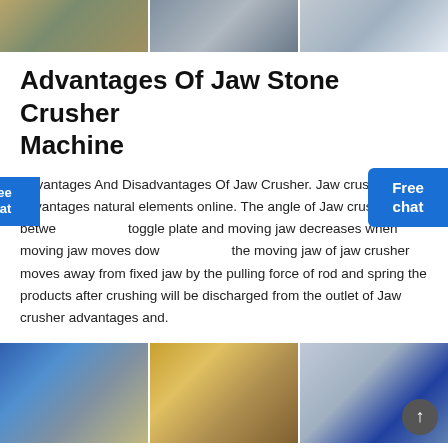[Figure (photo): Three industrial/mining site photos at the top of the page side by side]
Advantages Of Jaw Stone Crusher Machine
Advantages And Disadvantages Of Jaw Crusher. Jaw crusher advantages natural elements online. The angle of Jaw crusher between toggle plate and moving jaw decreases when moving jaw moves down, the moving jaw of jaw crusher moves away from fixed jaw by the pulling force of rod and spring the products after crushing will be discharged from the outlet of Jaw crusher advantages and.
[Figure (photo): Three industrial stone crusher machine photos side by side at the bottom of the page]
Advantages of jaw stone crusher...